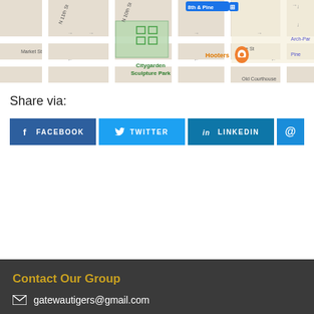[Figure (map): Google Maps view showing streets near Citygarden Sculpture Park in St. Louis, including 8th & Pine, N 10th St, N 11th St, Market St, Pine St, Hooters restaurant marker, and Old Courthouse label. Arch-Par visible on right.]
Share via:
[Figure (infographic): Social share buttons: FACEBOOK (dark blue with Facebook icon), TWITTER (cyan/blue with Twitter bird icon), LINKEDIN (blue with LinkedIn icon), and @ email button (blue)]
Contact Our Group
gatewautigers@gmail.com